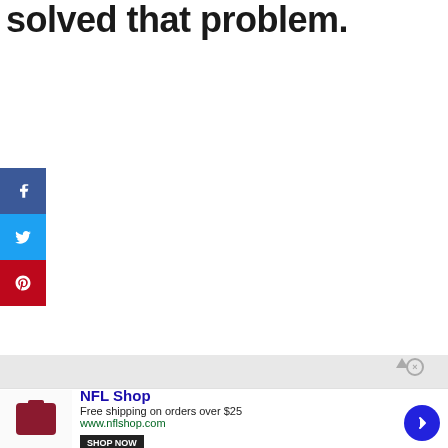solved that problem.
[Figure (other): Social share sidebar with Facebook, Twitter, and Pinterest buttons]
[Figure (other): Advertisement banner area (gray background)]
[Figure (other): NFL Shop advertisement with product image, title 'NFL Shop', description 'Free shipping on orders over $25', URL 'www.nflshop.com', Shop Now button, and navigation arrow]